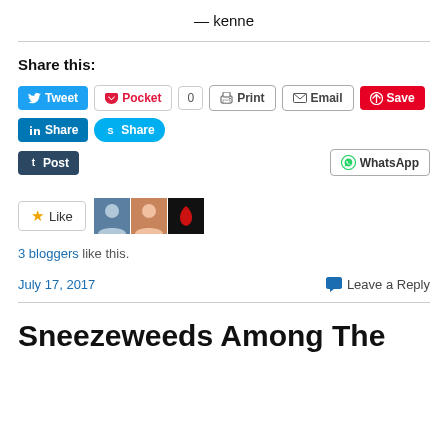— kenne
Share this:
[Figure (screenshot): Social sharing buttons: Tweet, Pocket (0), Print, Email, Save, LinkedIn Share, Skype Share, Tumblr Post, WhatsApp]
[Figure (screenshot): Like button with star icon and 3 blogger avatars]
3 bloggers like this.
July 17, 2017   Leave a Reply
Sneezeweeds Among The